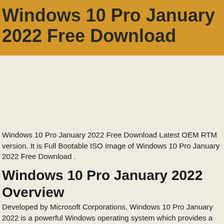Windows 10 Pro January 2022 Free Download
[Figure (other): Advertisement or placeholder image area (blank grey space)]
Windows 10 Pro January 2022 Free Download Latest OEM RTM version. It is Full Bootable ISO Image of Windows 10 Pro January 2022 Free Download .
Windows 10 Pro January 2022 Overview
Developed by Microsoft Corporations, Windows 10 Pro January 2022 is a powerful Windows operating system which provides a variety of advanced tools features to run your system flawlessly. It is a full-featured and complete utility which comes loaded with all the basic features and tools to fulfil the needs of users in various projects. The program brings pre-installed applications, important updates, security enhancements to make the workflow more smooth and more seamless.It also offers loads of fixes and